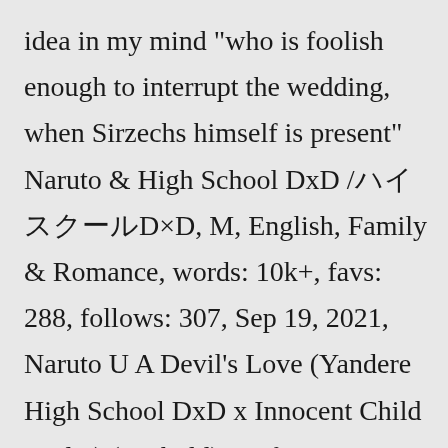idea in my mind "who is foolish enough to interrupt the wedding, when Sirzechs himself is present" Naruto & High School DxD /ハイスクールD×D, M, English, Family & Romance, words: 10k+, favs: 288, follows: 307, Sep 19, 2021, Naruto U A Devil's Love (Yandere High School DxD x Innocent Child reader) (On hold) Fanfiction Rias is the sole daughter and youngest child of Zeoticus and Venelana Gremory, the aunt of